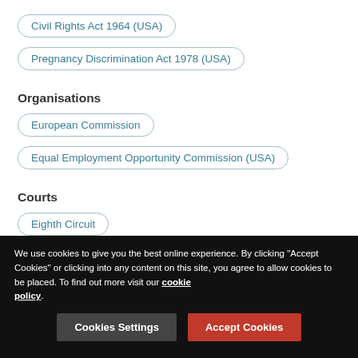Civil Rights Act 1964 (USA)
Pregnancy Discrimination Act 1978 (USA)
Organisations
European Commission
Equal Employment Opportunity Commission (USA)
Courts
Eighth Circuit
Popular articles from this firm
We use cookies to give you the best online experience. By clicking "Accept Cookies" or clicking into any content on this site, you agree to allow cookies to be placed. To find out more visit our cookie policy.
Cookies Settings  Accept Cookies